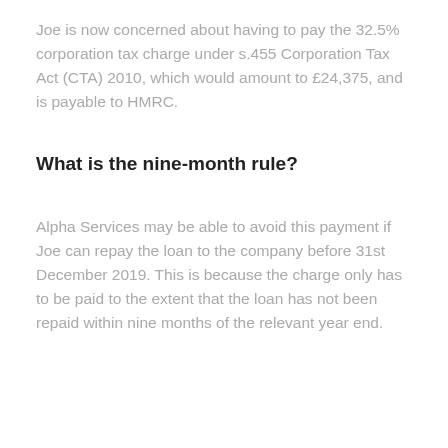Joe is now concerned about having to pay the 32.5% corporation tax charge under s.455 Corporation Tax Act (CTA) 2010, which would amount to £24,375, and is payable to HMRC.
What is the nine-month rule?
Alpha Services may be able to avoid this payment if Joe can repay the loan to the company before 31st December 2019. This is because the charge only has to be paid to the extent that the loan has not been repaid within nine months of the relevant year end.